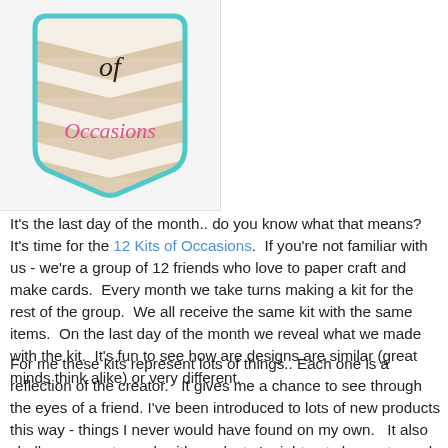[Figure (logo): 12 Kits of Occasions logo: a shield/badge shape with teal border, chevron tan/beige pattern background, script text 'of' in black at top and 'Occasions' in pink cursive script below]
It's the last day of the month.. do you know what that means?  It's time for the 12 Kits of Occasions.  If you're not familiar with us - we're a group of 12 friends who love to paper craft and make cards.  Every month we take turns making a kit for the rest of the group.  We all receive the same kit with the same items.  On the last day of the month we reveal what we made with the kit.  It's fun to see how are designs are similar (great minds think alike) or very different.
For me these kits represent lots of things.. Each one is a reflection of the creator.   It gives me a chance to see through the eyes of a friend. I've been introduced to lots of new products this way - things I never would have found on my own.   It also challenges me to work with products I might not choose to work with.  We all have different tastes, styles,